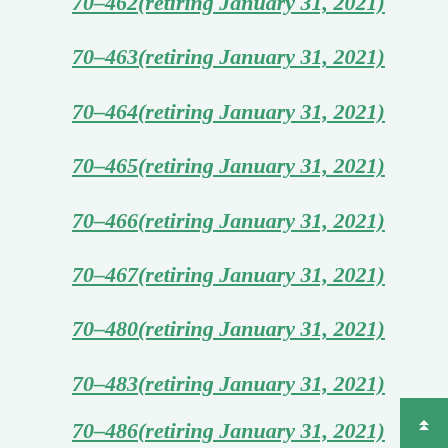70-462(retiring January 31, 2021)
70-463(retiring January 31, 2021)
70-464(retiring January 31, 2021)
70-465(retiring January 31, 2021)
70-466(retiring January 31, 2021)
70-467(retiring January 31, 2021)
70-480(retiring January 31, 2021)
70-483(retiring January 31, 2021)
70-486(retiring January 31, 2021)